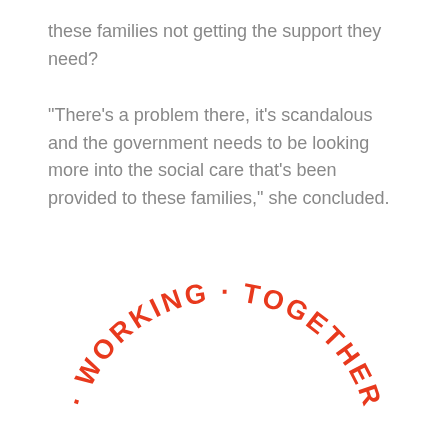these families not getting the support they need?

"There's a problem there, it's scandalous and the government needs to be looking more into the social care that's been provided to these families," she concluded.
[Figure (logo): Circular arc text logo reading '· WORKING · TOGETHER · N...' in red, forming a semi-circle arc]